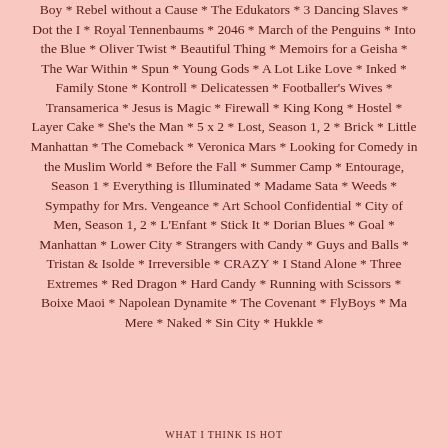Boy * Rebel without a Cause * The Edukators * 3 Dancing Slaves * Dot the I * Royal Tennenbaums * 2046 * March of the Penguins * Into the Blue * Oliver Twist * Beautiful Thing * Memoirs for a Geisha * The War Within * Spun * Young Gods * A Lot Like Love * Inked * Family Stone * Kontroll * Delicatessen * Footballer's Wives * Transamerica * Jesus is Magic * Firewall * King Kong * Hostel * Layer Cake * She's the Man * 5 x 2 * Lost, Season 1, 2 * Brick * Little Manhattan * The Comeback * Veronica Mars * Looking for Comedy in the Muslim World * Before the Fall * Summer Camp * Entourage, Season 1 * Everything is Illuminated * Madame Sata * Weeds * Sympathy for Mrs. Vengeance * Art School Confidential * City of Men, Season 1, 2 * L'Enfant * Stick It * Dorian Blues * Goal * Manhattan * Lower City * Strangers with Candy * Guys and Balls * Tristan & Isolde * Irreversible * CRAZY * I Stand Alone * Three Extremes * Red Dragon * Hard Candy * Running with Scissors * Boixe Maoi * Napolean Dynamite * The Covenant * FlyBoys * Ma Mere * Naked * Sin City * Hukkle *
WHAT I THINK IS HOT